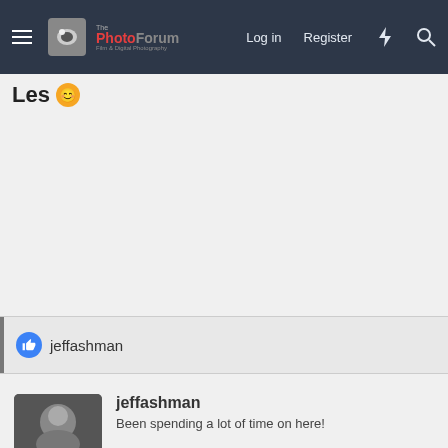The PhotoForum — Log in | Register
Les 😊
👍 jeffashman
jeffashman
Been spending a lot of time on here!